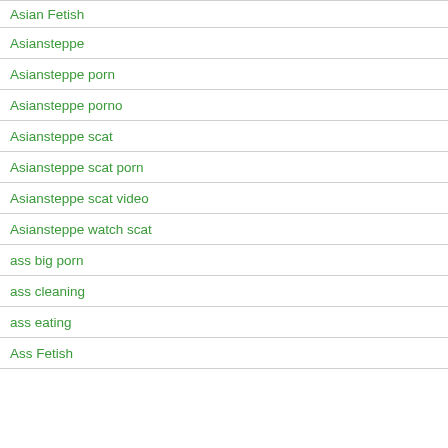Asian Fetish
Asiansteppe
Asiansteppe porn
Asiansteppe porno
Asiansteppe scat
Asiansteppe scat porn
Asiansteppe scat video
Asiansteppe watch scat
ass big porn
ass cleaning
ass eating
Ass Fetish